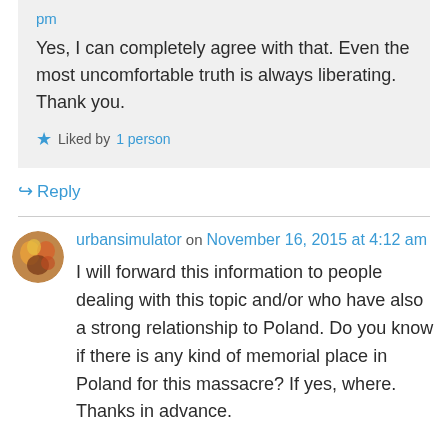pm
Yes, I can completely agree with that. Even the most uncomfortable truth is always liberating.
Thank you.
Liked by 1 person
Reply
urbansimulator on November 16, 2015 at 4:12 am
I will forward this information to people dealing with this topic and/or who have also a strong relationship to Poland. Do you know if there is any kind of memorial place in Poland for this massacre? If yes, where. Thanks in advance.